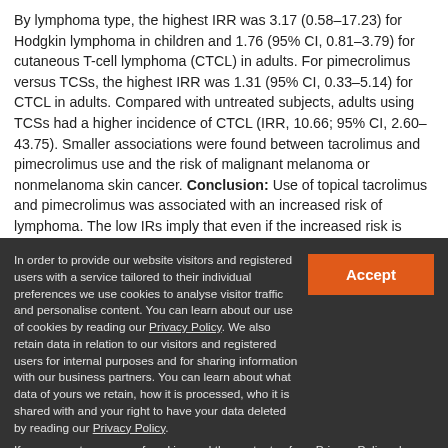By lymphoma type, the highest IRR was 3.17 (0.58–17.23) for Hodgkin lymphoma in children and 1.76 (95% CI, 0.81–3.79) for cutaneous T-cell lymphoma (CTCL) in adults. For pimecrolimus versus TCSs, the highest IRR was 1.31 (95% CI, 0.33–5.14) for CTCL in adults. Compared with untreated subjects, adults using TCSs had a higher incidence of CTCL (IRR, 10.66; 95% CI, 2.60–43.75). Smaller associations were found between tacrolimus and pimecrolimus use and the risk of malignant melanoma or nonmelanoma skin cancer. Conclusion: Use of topical tacrolimus and pimecrolimus was associated with an increased risk of lymphoma. The low IRs imply that even if the increased risk is causal, it represents a
In order to provide our website visitors and registered users with a service tailored to their individual preferences we use cookies to analyse visitor traffic and personalise content. You can learn about our use of cookies by reading our Privacy Policy. We also retain data in relation to our visitors and registered users for internal purposes and for sharing information with our business partners. You can learn about what data of yours we retain, how it is processed, who it is shared with and your right to have your data deleted by reading our Privacy Policy. If you agree to our use of cookies and the contents of our Privacy Policy please click 'accept'.